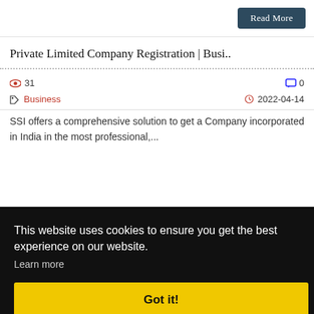Read More
Private Limited Company Registration | Busi..
31
0
Business
2022-04-14
SSI offers a comprehensive solution to get a Company incorporated in India in the most professional,...
This website uses cookies to ensure you get the best experience on our website.
Learn more
Got it!
0
0
More
0
2-04-14
Mindful awareness techniques can be used to reshape...